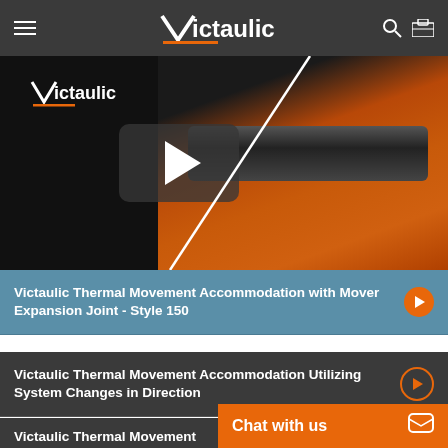Victaulic
[Figure (screenshot): Victaulic product video thumbnail showing orange pipe coupling hardware on black background with play button overlay]
Victaulic Thermal Movement Accommodation with Mover Expansion Joint - Style 150
Victaulic Thermal Movement Accommodation Utilizing System Changes in Direction
Victaulic Thermal Movement Accommodation in Two Directions